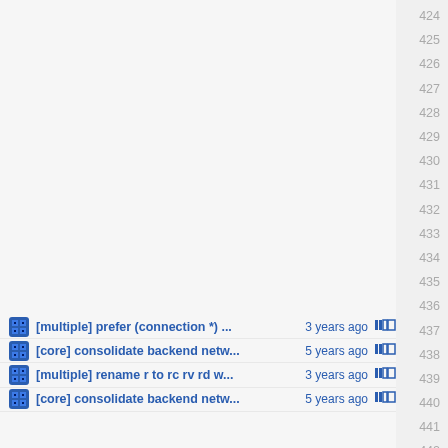[multiple] prefer (connection *) ... 3 years ago
[core] consolidate backend netw...5 years ago
[multiple] rename r to rc rv rd w... 3 years ago
[core] consolidate backend netw...5 years ago